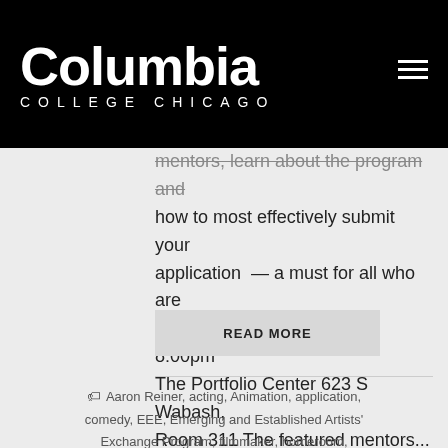[Figure (logo): Columbia College Chicago logo with white text on black background, with hamburger menu icon top right]
mentors, learn about the program and how to most effectively submit your application  — a must for all who are interes Tuesday, 9/30 7:00–8:00pm The Portfolio Center 623 S Wabash, Room 311 The featured mentors...
READ MORE
Aaron Reiner, acting, Animation, application, comedy, EEE, Emerging and Established Artists' Exchange Program, filmmaker, homeroom, illustration, illustrated, ...